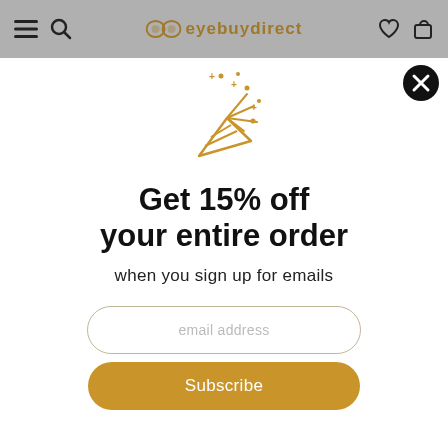eyebuydirect
[Figure (illustration): Golden party popper/confetti cannon icon with sparkles and dots around it]
Get 15% off your entire order
when you sign up for emails
email address
Subscribe